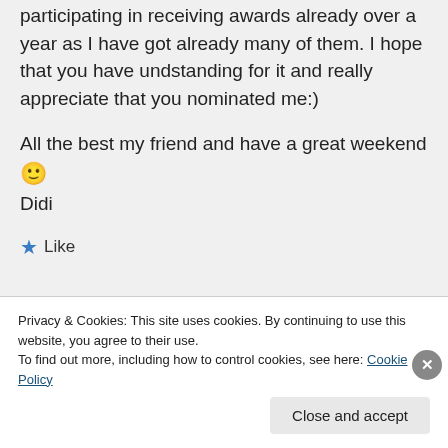participating in receiving awards already over a year as I have got already many of them. I hope that you have undstanding for it and really appreciate that you nominated me:)
All the best my friend and have a great weekend 🙂
Didi
★ Like
Log in to Reply
Privacy & Cookies: This site uses cookies. By continuing to use this website, you agree to their use.
To find out more, including how to control cookies, see here: Cookie Policy
Close and accept